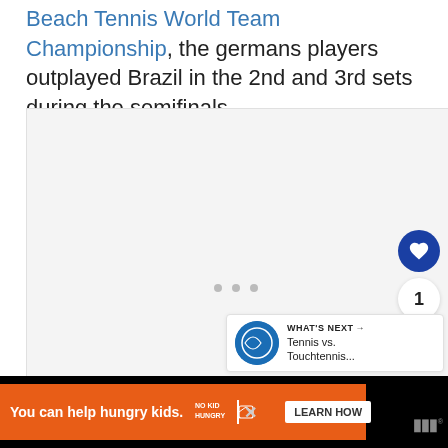Beach Tennis World Team Championship, the germans players outplayed Brazil in the 2nd and 3rd sets during the semifinals.
[Figure (screenshot): Embedded media player area (light gray background) with three small gray dots indicating loading/placeholder state. On the right side there is a heart/like button (dark blue circle), a count showing '1', and a share button. Below there is a 'WHAT'S NEXT' banner with a tennis app icon and text 'Tennis vs. Touchtennis...']
[Figure (screenshot): Advertisement banner at bottom: black background with orange ad section reading 'You can help hungry kids.' with No Kid Hungry logo and 'LEARN HOW' button. Washington Post logo on right.]